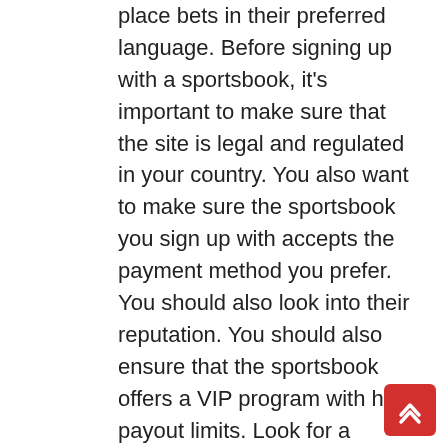place bets in their preferred language. Before signing up with a sportsbook, it's important to make sure that the site is legal and regulated in your country. You also want to make sure the sportsbook you sign up with accepts the payment method you prefer. You should also look into their reputation. You should also ensure that the sportsbook offers a VIP program with high payout limits. Look for a website with a blue colour scheme and a user-friendly layout. SBOBet is an Asian sportsbook with over a million members. Its interface is easy to navigate and encourages punters to interact with one another. Its multilingual support team is helpful and the sportsbook's revenue sharing program encourages punter interaction. SBOBet supports several languages and is an ideal choice for